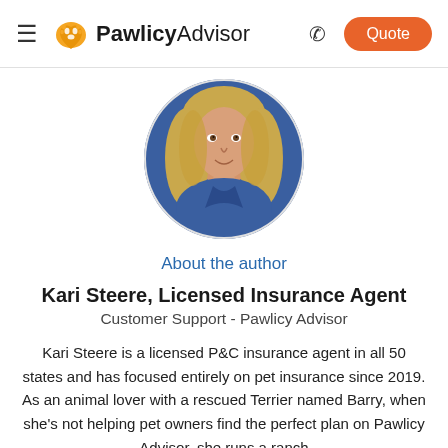PawlicyAdvisor — Quote
[Figure (photo): Circular profile photo of Kari Steere, a woman with long blonde hair wearing a blue top]
About the author
Kari Steere, Licensed Insurance Agent
Customer Support - Pawlicy Advisor
Kari Steere is a licensed P&C insurance agent in all 50 states and has focused entirely on pet insurance since 2019. As an animal lover with a rescued Terrier named Barry, when she's not helping pet owners find the perfect plan on Pawlicy Advisor, she runs a ranch